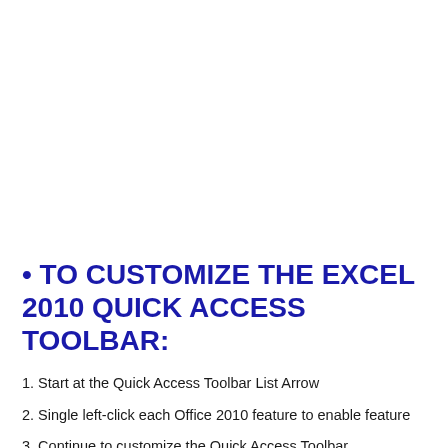• TO CUSTOMIZE THE EXCEL 2010 QUICK ACCESS TOOLBAR:
1. Start at the Quick Access Toolbar List Arrow
2. Single left-click each Office 2010 feature to enable feature
3. Continue to customize the Quick Access Toolbar